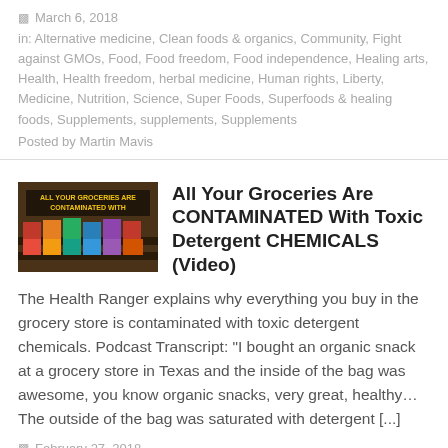March 6, 2018
in: Alternative medicine, Clean foods & organics, Community, Fight against GMOs, Food, Food freedom, Food independence, Healing arts, Health, Health freedom, herbal medicine, Human rights, Liberty, Medicine, Nutrition, Science, Super Foods, Superfoods & healing foods, Supplements, supplements, Supplements
Posted by Martin Mavis
All Your Groceries Are CONTAMINATED With Toxic Detergent CHEMICALS (Video)
The Health Ranger explains why everything you buy in the grocery store is contaminated with toxic detergent chemicals. Podcast Transcript: "I bought an organic snack at a grocery store in Texas and the inside of the bag was awesome, you know organic snacks, very great, healthy… The outside of the bag was saturated with detergent [...]
February 27, 2018
in: Clean foods & organics, Food, food safety, Health, Nutrition, Superfoods & healing foods, Toxic ingredients
Posted by Martin Mavis